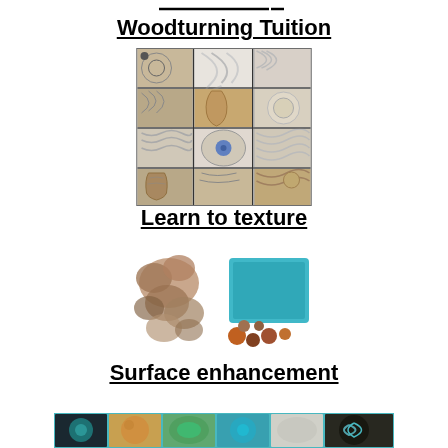Woodturning Tuition
[Figure (photo): Collage of woodturned pieces showing various texturing techniques in a 3x4 grid]
Learn to texture
[Figure (photo): Collage of colorful surface-enhanced woodturned objects including bowls and spheres with blue, orange, and teal colors]
Surface enhancement
[Figure (photo): Horizontal strip of woodturned pieces showing surface enhancement techniques in teal/turquoise colors]